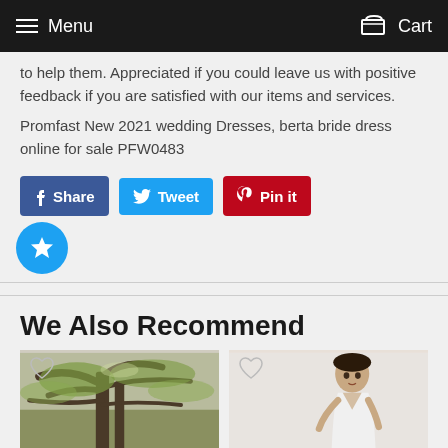Menu   Cart
to help them. Appreciated if you could leave us with positive feedback if you are satisfied with our items and services.
Promfast New 2021 wedding Dresses, berta bride dress online for sale PFW0483
Share  Tweet  Pin it
We Also Recommend
[Figure (photo): Product photo showing a scenic outdoors/nature scene with large oak trees]
[Figure (photo): Product photo showing a bride in a white wedding dress with a headpiece/tiara]